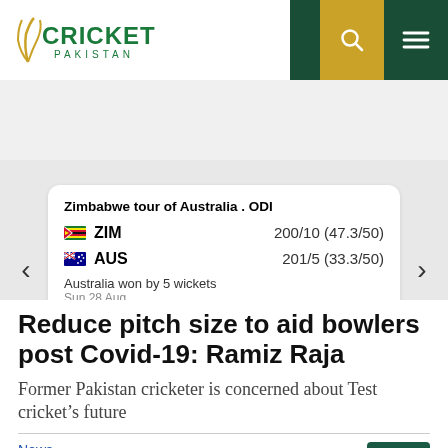Cricket Pakistan
[Figure (infographic): Cricket Pakistan website scorecard widget showing Zimbabwe tour of Australia ODI match. ZIM scored 200/10 (47.3/50), AUS scored 201/5 (33.3/50). Australia won by 5 wickets on Sun 28 Aug. Buttons for Schedule and Videos.]
Reduce pitch size to aid bowlers post Covid-19: Ramiz Raja
Former Pakistan cricketer is concerned about Test cricket's future
News Desk
423 in shares